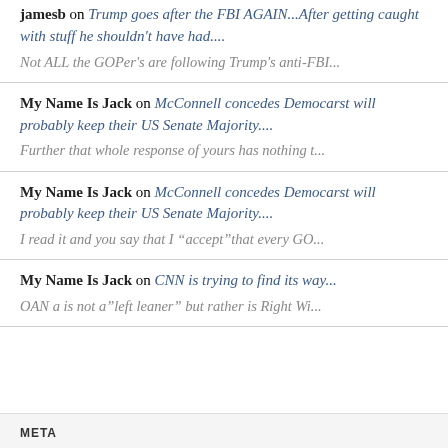jamesb on Trump goes after the FBI AGAIN...After getting caught with stuff he shouldn't have had.... Not ALL the GOPer's are following Trump's anti-FBI...
My Name Is Jack on McConnell concedes Democarst will probably keep their US Senate Majority.... Further that whole response of yours has nothing t...
My Name Is Jack on McConnell concedes Democarst will probably keep their US Senate Majority.... I read it and you say that I “accept”that every GO...
My Name Is Jack on CNN is trying to find its way... OAN a is not a”left leaner” but rather is Right Wi...
META